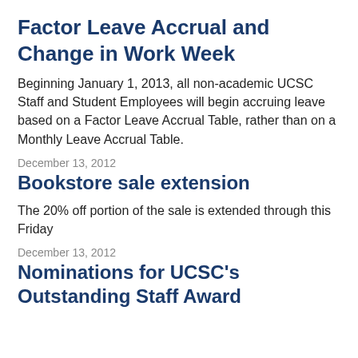Factor Leave Accrual and Change in Work Week
Beginning January 1, 2013, all non-academic UCSC Staff and Student Employees will begin accruing leave based on a Factor Leave Accrual Table, rather than on a Monthly Leave Accrual Table.
December 13, 2012
Bookstore sale extension
The 20% off portion of the sale is extended through this Friday
December 13, 2012
Nominations for UCSC's Outstanding Staff Award